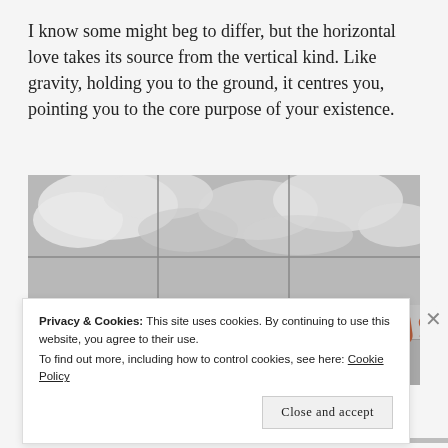I know some might beg to differ, but the horizontal love takes its source from the vertical kind. Like gravity, holding you to the ground, it centres you, pointing you to the core purpose of your existence.
[Figure (photo): Black and white photo of tiled ground reflecting cloudy sky, with text 'PASSION LED US HERE' in terracotta/rust colored letters]
Privacy & Cookies: This site uses cookies. By continuing to use this website, you agree to their use.
To find out more, including how to control cookies, see here: Cookie Policy
Close and accept